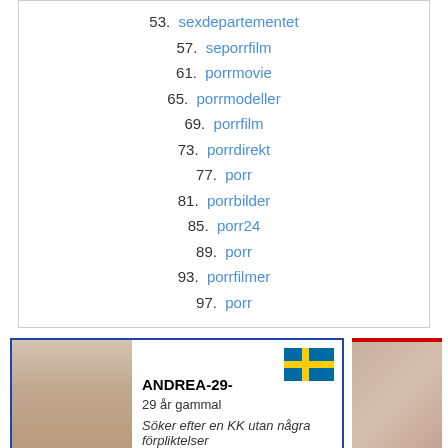53.  sexdepartementet
57.  seporrfilm
61.  porrmovie
65.  porrmodeller
69.  porrfilm
73.  porrdirekt
77.  porr
81.  porrbilder
85.  porr24
89.  porr
93.  porrfilmer
97.  porr
[Figure (photo): Advertisement card with photo of woman, Swedish flag, name ANDREA-29-, age 29 år gammal, description Söker efter en KK utan några förpliktelser]
[Figure (photo): Partial advertisement card with red banner at top and photo of arm/body]